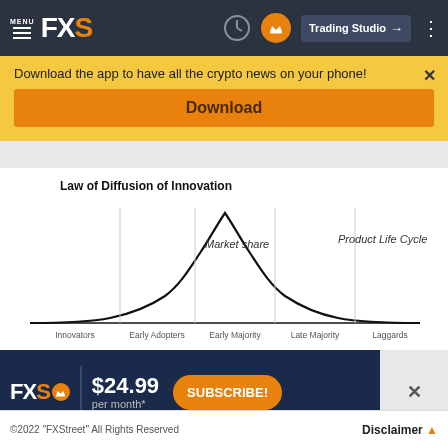MENU FXS | Trading Studio
Download the app to have all the crypto news on your phone!
Download
[Figure (continuous-plot): Bell curve chart titled 'Law of Diffusion of Innovation' showing a normal distribution with vertical dividers separating segments labeled Innovators, Early Adopters, Early Majority, Late Majority, and Laggards on the x-axis. The y-axis represents Market share. 'Product Life Cycle' is labeled on the right side of the curve.]
FXS $24.99 per month* SUBSCRIBE!
©2022 "FXStreet" All Rights Reserved   Disclaimer ▲